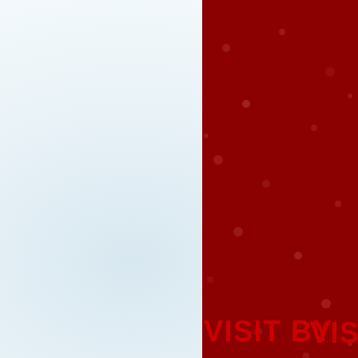[Figure (photo): Dark red/crimson textured panel on the right side of the page with a subtle dot pattern, occupying roughly the right quarter of the page. The left portion has a light blue-white gradient background.]
Photo: H.E. Am
of the Governor
VISIT BY